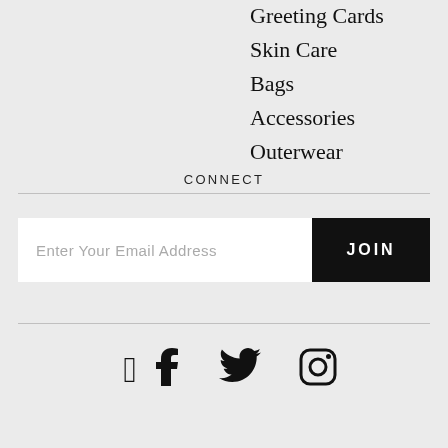Greeting Cards
Skin Care
Bags
Accessories
Outerwear
CONNECT
Enter Your Email Address
JOIN
[Figure (illustration): Social media icons: Facebook, Twitter, Instagram]